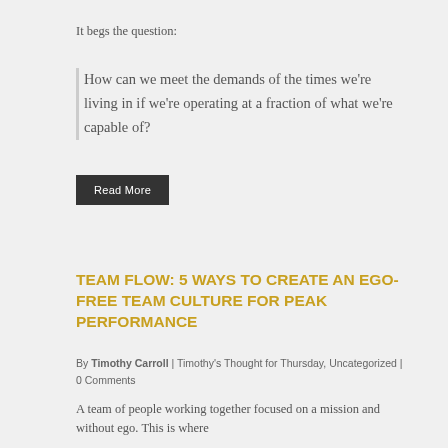It begs the question:
How can we meet the demands of the times we're living in if we're operating at a fraction of what we're capable of?
Read More
TEAM FLOW: 5 WAYS TO CREATE AN EGO-FREE TEAM CULTURE FOR PEAK PERFORMANCE
By Timothy Carroll | Timothy's Thought for Thursday, Uncategorized | 0 Comments
A team of people working together focused on a mission and without ego. This is where